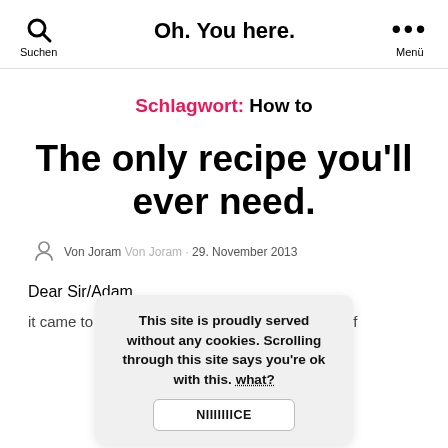Oh. You here. | Suchen | Menü
Schlagwort: How to
The only recipe you'll ever need.
Von Joram Von Joram · 29. November 2013
Dear Sir/Adam,
it came to my knowledge that you were in need of
This site is proudly served without any cookies. Scrolling through this site says you're ok with this. what? NIIIIIIICE